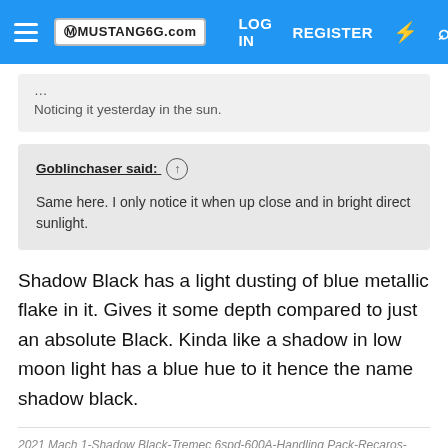MUSTANG6G.COM | LOG IN | REGISTER
Noticing it yesterday in the sun.
Goblinchaser said: ↑
Same here. I only notice it when up close and in bright direct sunlight.
Shadow Black has a light dusting of blue metallic flake in it. Gives it some depth compared to just an absolute Black. Kinda like a shadow in low moon light has a blue hue to it hence the name shadow black.
2021 Mach 1-Shadow Black-Tremec 6spd-600A-Handling Pack-Recaros-Rear Seat Delete-Red Brembos
Coastal-Mach, JuicySmollet, Goblinchaser and 1 other person